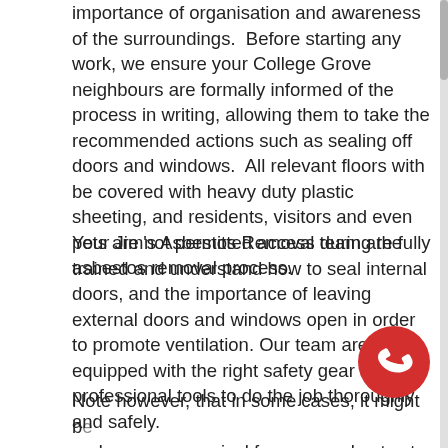importance of organisation and awareness of the surroundings.  Before starting any work, we ensure your College Grove neighbours are formally informed of the process in writing, allowing them to take the recommended actions such as sealing off doors and windows.  All relevant floors with be covered with heavy duty plastic sheeting, and residents, visitors and even pets are not permitted access during the asbestos removal process.
Your Jim's Asbestos Removal team are fully trained and understand how to seal internal doors, and the importance of leaving external doors and windows open in order to promote ventilation. Our team are equipped with the right safety gear and professional tools to do the job thoroughly and safely.
Note however, that in some cases, it might b... and more economical for some asbestos to be le...
[Figure (other): Red circular phone call button icon in bottom right corner]